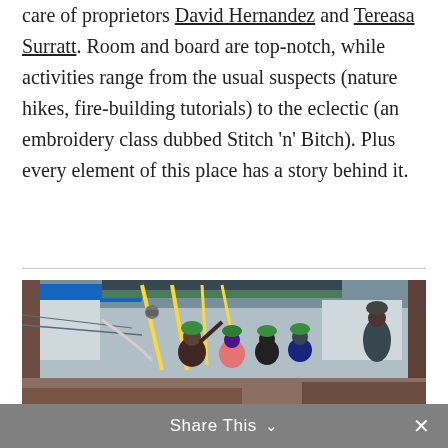care of proprietors David Hernandez and Tereasa Surratt. Room and board are top-notch, while activities range from the usual suspects (nature hikes, fire-building tutorials) to the eclectic (an embroidery class dubbed Stitch 'n' Bitch). Plus every element of this place has a story behind it.
[Figure (photo): Group of people wearing green helmets on a zipline platform with yellow harness straps visible, wooden structure with metal roof overhead.]
Share This ∨   ✕